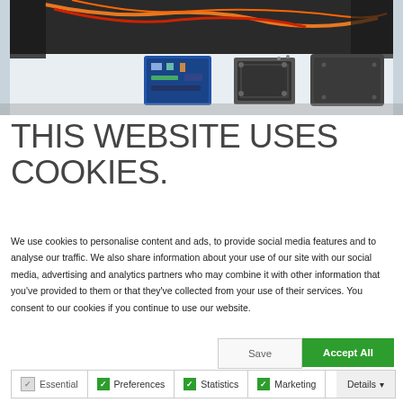[Figure (photo): Photo of disassembled electronic device components (circuit board, frame/housing pieces) laid out on a white surface, with a motorcycle visible in the upper portion of the image.]
THIS WEBSITE USES COOKIES.
We use cookies to personalise content and ads, to provide social media features and to analyse our traffic. We also share information about your use of our site with our social media, advertising and analytics partners who may combine it with other information that you've provided to them or that they've collected from your use of their services. You consent to our cookies if you continue to use our website.
Save
Accept All
Essential  Preferences  Statistics  Marketing  Details